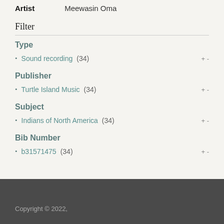Artist   Meewasin Oma
Filter
Type
Sound recording (34)
Publisher
Turtle Island Music (34)
Subject
Indians of North America (34)
Bib Number
b31571475 (34)
Copyright © 2022,